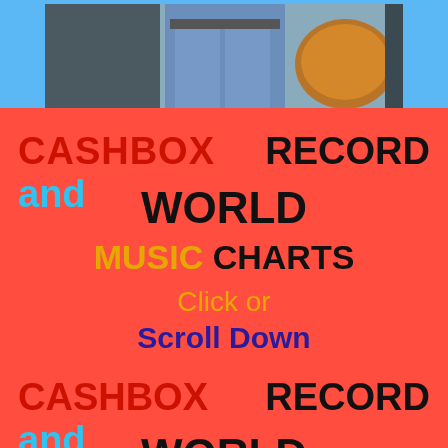[Figure (photo): Partial photo of a person in blue jeans standing near musical equipment/drums, cropped at the top of the page on a blue background]
CASHBOX and RECORD WORLD MUSIC CHARTS Click or Scroll Down
CASHBOX and RECORD WORLD MUSIC CHARTS Click or Scroll Down